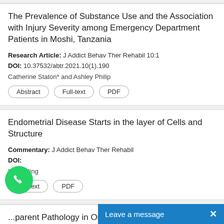The Prevalence of Substance Use and the Association with Injury Severity among Emergency Department Patients in Moshi, Tanzania
Research Article: J Addict Behav Ther Rehabil 10:1
DOI: 10.37532/abtr.2021.10(1).190
Catherine Staton* and Ashley Philip
Abstract
Full-text
PDF
Endometrial Disease Starts in the layer of Cells and Structure
Commentary: J Addict Behav Ther Rehabil
DOI:
Kang Ning
Full-text
PDF
...parent Pathology in Ongoing Torment Disorders